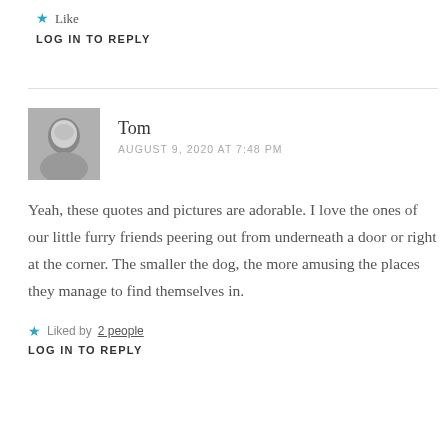★ Like
LOG IN TO REPLY
Tom
AUGUST 9, 2020 AT 7:48 PM
Yeah, these quotes and pictures are adorable. I love the ones of our little furry friends peering out from underneath a door or right at the corner. The smaller the dog, the more amusing the places they manage to find themselves in.
★ Liked by 2 people
LOG IN TO REPLY